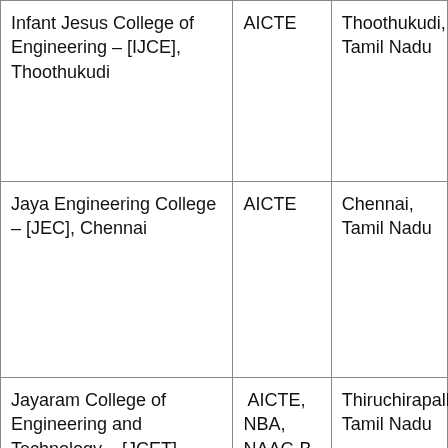| College Name | Accreditation | Location |
| --- | --- | --- |
| Infant Jesus College of Engineering – [IJCE], Thoothukudi | AICTE | Thoothukudi, Tamil Nadu |
| Jaya Engineering College – [JEC], Chennai | AICTE | Chennai, Tamil Nadu |
| Jayaram College of Engineering and Technology – [JCET], Thiruchirapalli | AICTE, NBA, NAAC-B | Thiruchirapalli, Tamil Nadu |
| Joe Suresh Engineering College – [JSEC], Thiruchirapalli | AICTE | Thiruchirapalli, Tamil Nadu |
| K Ramakrishnan College of |  | Thiruchirapalli |